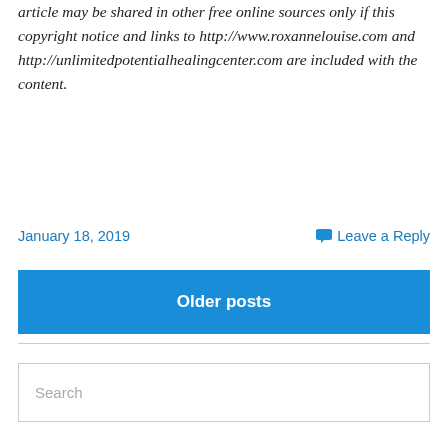article may be shared in other free online sources only if this copyright notice and links to http://www.roxannelouise.com and http://unlimitedpotentialhealingcenter.com are included with the content.
January 18, 2019
Leave a Reply
Older posts
Search